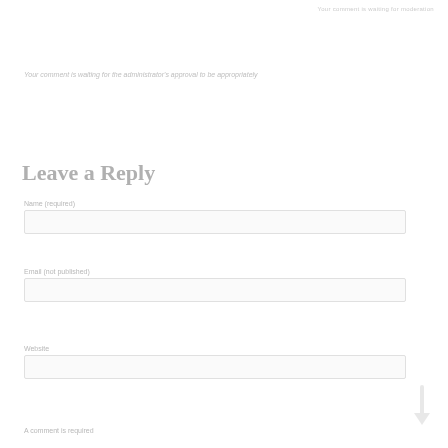Your comment is waiting for moderation
Your comment is waiting for the administrator's approval to be appropriately
Leave a Reply
Name (required)
Email (not published)
Website
A comment is required